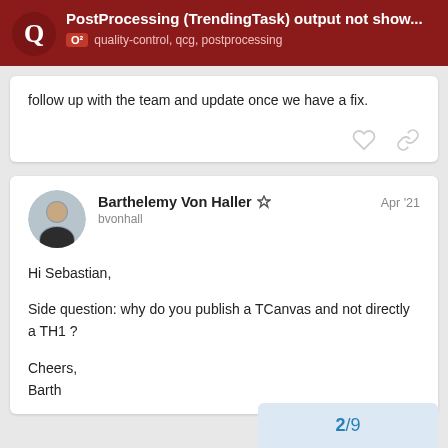PostProcessing (TrendingTask) output not show... | O² | quality-control, qcg, postprocessing
follow up with the team and update once we have a fix.
Barthelemy Von Haller bvonhall Apr '21
Hi Sebastian,

Side question: why do you publish a TCanvas and not directly a TH1 ?

Cheers,
Barth
2 / 9